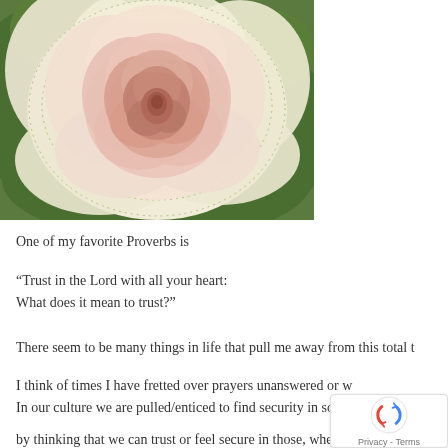[Figure (photo): Close-up photograph of a decorative cabbage rose flower with soft pink center petals fading to cream/white outer leaves, surrounded by green cabbage leaves]
One of my favorite Proverbs is
“Trust in the Lord with all your heart:
What does it mean to trust?”
There seem to be many things in life that pull me away from this total t
I think of times I have fretted over prayers unanswered or w
In our culture we are pulled/enticed to find security in so m
by thinking that we can trust or feel secure in those, whether they